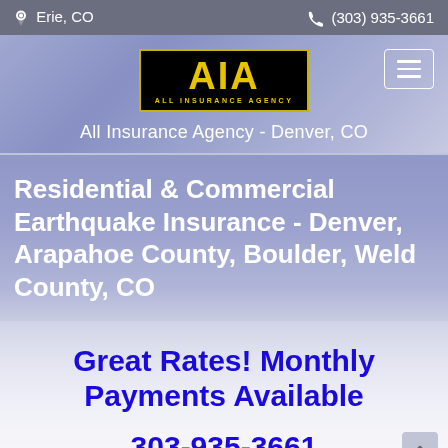Erie, CO   (303) 935-3661
[Figure (logo): All Insurance Agency logo — black background with yellow AIA letters and 'ALL INSURANCE AGENCY' text below, yellow border]
All Insurance Agency - Denver, CO
Residential & Commercial Earthquake Insurance - Denver, Arapahoe County, Boulder, Weld County, CO
Great Rates! Monthly Payments Available
303-935-3661